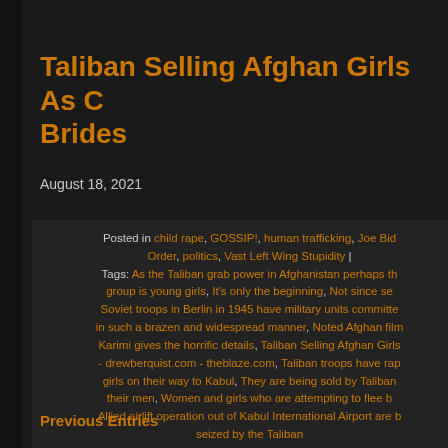Taliban Selling Afghan Girls As Child Brides
August 18, 2021
Posted in child rape, GOSSIP!, human trafficking, Joe Biden New World Order, politics, Vast Left Wing Stupidity | Tags: As the Taliban grab power in Afghanistan perhaps the most vulnerable group is young girls, It's only the beginning, Not since soviet troops in Berlin in 1945 have military units committed rape in such a brazen and widespread manner, Noted Afghan filmmaker Sonia Karimi gives the horrific details, Taliban Selling Afghan Girls As Child Brides - drewberquist.com - theblaze.com, Taliban troops have raped girls on their way to Kabul. They are being sold by Taliban soldiers to their men, Women and girls who are attempting to flee by the Allied airlift operation out of Kabul International Airport are being seized by the Taliban
Leave a Comment »
Previous Entries